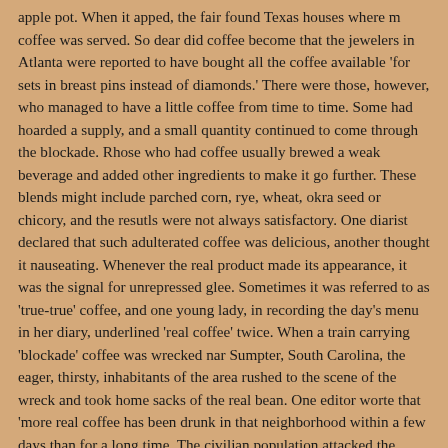apple pot. When it apped, the fair found Texas houses where m coffee was served. So dear did coffee become that the jewelers in Atlanta were reported to have bought all the coffee available 'for sets in breast pins instead of diamonds.' There were those, however, who managed to have a little coffee from time to time. Some had hoarded a supply, and a small quantity continued to come through the blockade. Rhose who had coffee usually brewed a weak beverage and added other ingredients to make it go further. These blends might include parched corn, rye, wheat, okra seed or chicory, and the resutls were not always satisfactory. One diarist declared that such adulterated coffee was delicious, another thought it nauseating. Whenever the real product made its appearance, it was the signal for unrepressed glee. Sometimes it was referred to as 'true-true' coffee, and one young lady, in recording the day's menu in her diary, underlined 'real coffee' twice. When a train carrying 'blockade' coffee was wrecked nar Sumpter, South Carolina, the eager, thirsty, inhabitants of the area rushed to the scene of the wreck and took home sacks of the real bean. One editor worte that 'more real coffee has been drunk in that neighborhood within a few days than for a long time. The civilian population attacked the problem of substitutes for coffee with a determination and energy unlike that exhibited in the search for other expedients. No other single item had more substitutes. The people worked at the project unceasingly, with the result that 'few were the substances which did not...find their way into a coffee pot.' Boundless was the pride of the housewife who discovered and